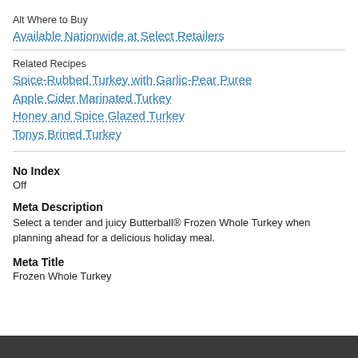Alt Where to Buy
Available Nationwide at Select Retailers
Related Recipes
Spice-Rubbed Turkey with Garlic-Pear Puree
Apple Cider Marinated Turkey
Honey and Spice Glazed Turkey
Tonys Brined Turkey
No Index
Off
Meta Description
Select a tender and juicy Butterball® Frozen Whole Turkey when planning ahead for a delicious holiday meal.
Meta Title
Frozen Whole Turkey